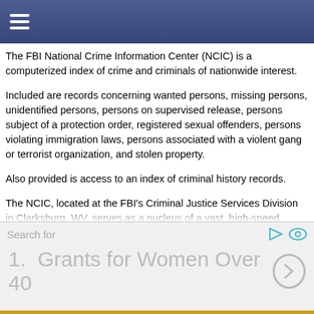≡
The FBI National Crime Information Center (NCIC) is a computerized index of crime and criminals of nationwide interest.
Included are records concerning wanted persons, missing persons, unidentified persons, persons on supervised release, persons subject of a protection order, registered sexual offenders, persons violating immigration laws, persons associated with a violent gang or terrorist organization, and stolen property.
Also provided is access to an index of criminal history records.
The NCIC, located at the FBI's Criminal Justice Services Division in Clarksburg, WV, serves as a nucleus of a vast, high-speed criminal justice communications network which includes authorized local, State, and Federal criminal justice agencies throughout the United States, Canada, Puerto Rico, the U. S. Virgin Islands, Guam, and American Samoa.
Through use of computer storage and retrieval, the NCIC is able to locate and transmit in seconds essential data for the efficient performance of
Search for | 1. Grants for Women Over 40